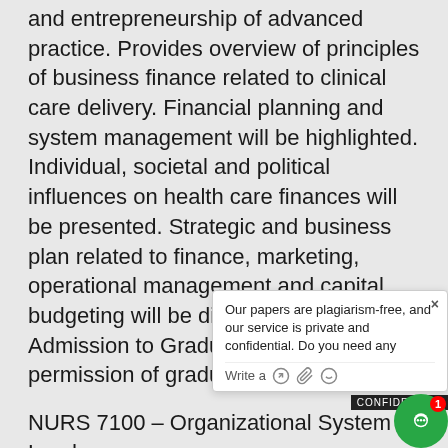and entrepreneurship of advanced practice. Provides overview of principles of business finance related to clinical care delivery. Financial planning and system management will be highlighted. Individual, societal and political influences on health care finances will be presented. Strategic and business plan related to finance, marketing, operational management and capital budgeting will be discussed. Prer., Admission to Graduate DNP program or permission of graduate director.
NURS 7100 – Organizational System Leadership and Quality Improvement
3 Credits (Minimum) 3 Credits (Maximum)
Explores theoretical foundations of reflective practice within organizational and leadership perspectives. Provides an overview of principles of organizational systems/culture, quality improvement/ risk management. Concepts within informatic/ technologic